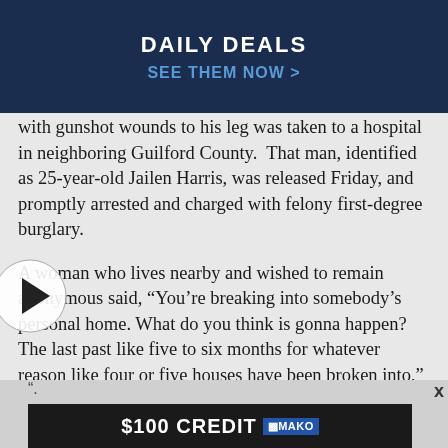DAILY DEALS
SEE THEM NOW >
with gunshot wounds to his leg was taken to a hospital in neighboring Guilford County.  That man, identified as 25-year-old Jailen Harris, was released Friday, and promptly arrested and charged with felony first-degree burglary.
A woman who lives nearby and wished to remain anonymous said, "You’re breaking into somebody’s personal home. What do you think is gonna happen? The last past like five to six months for whatever reason like four or five houses have been broken into," she said.
[Figure (other): Video play button overlay]
[Figure (other): Advertisement banner showing $100 CREDIT by MAKO]